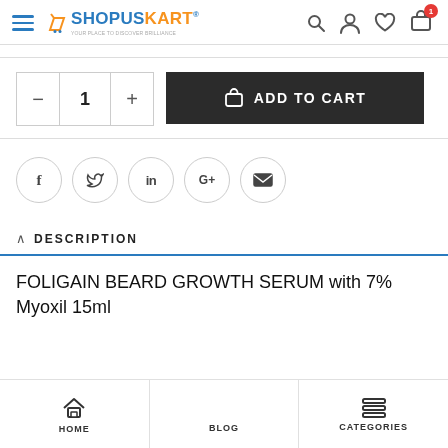ShopUsKart navigation header with logo, search, account, wishlist, and cart icons
[Figure (screenshot): Add to cart quantity selector and button: minus button, quantity 1, plus button, and dark Add to Cart button with shopping bag icon]
[Figure (infographic): Social sharing icons row: Facebook, Twitter, LinkedIn, Google+, Email — each in a grey circle border]
DESCRIPTION
FOLIGAIN BEARD GROWTH SERUM with 7% Myoxil 15ml
HOME   BLOG   CATEGORIES